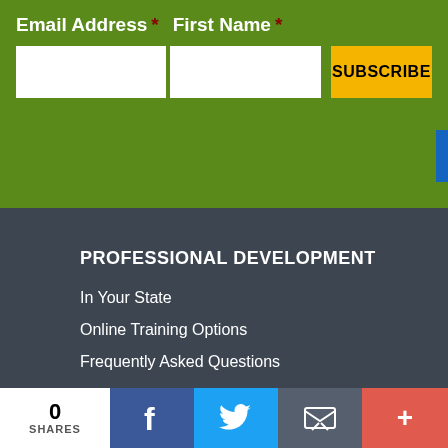Email Address * First Name *
[Figure (screenshot): Email and First Name input fields with Subscribe button on green background]
PROFESSIONAL DEVELOPMENT
In Your State
Online Training Options
Frequently Asked Questions
0 SHARES | Facebook | Twitter | Email | +